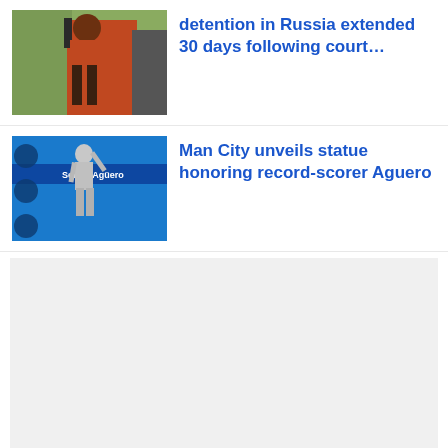[Figure (photo): Person in red hoodie being escorted, related to Brittney Griner Russia detention story]
detention in Russia extended 30 days following court…
[Figure (photo): Silver statue of Sergio Aguero in front of blue Manchester City banner reading 'Sergio Agüero']
Man City unveils statue honoring record-scorer Aguero